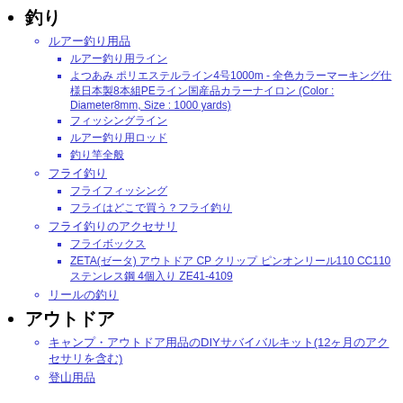釣り
ルアー釣り用品
ルアー釣り用ライン
よつあみ ポリエステルライン4号1000m - 全色カラーマーキング仕様日本製8本組PEライン国産品カラーナイロン (Color : Diameter8mm, Size : 1000 yards)
フィッシングライン
ルアー釣り用ロッド
釣り竿全般
フライ釣り
フライフィッシング
フライはどこで買う？フライ釣り
フライ釣りのアクセサリ
フライボックス
ZETA(ゼータ) アウトドア CP クリップ ピンオンリール110 CC110 ステンレス鋼 4個入り ZE41-4109
リールの釣り
アウトドア
キャンプ・アウトドア用品のDIYサバイバルキット(12ヶ月のアクセサリを含む)
登山用品